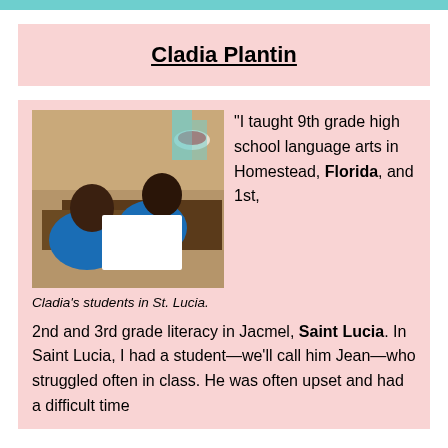Cladia Plantin
[Figure (photo): Two students in blue shirts sitting at desks drawing or writing on paper in a classroom setting.]
Cladia's students in St. Lucia.
“I taught 9th grade high school language arts in Homestead, Florida, and 1st, 2nd and 3rd grade literacy in Jacmel, Saint Lucia. In Saint Lucia, I had a student—we’ll call him Jean—who struggled often in class. He was often upset and had a difficult time